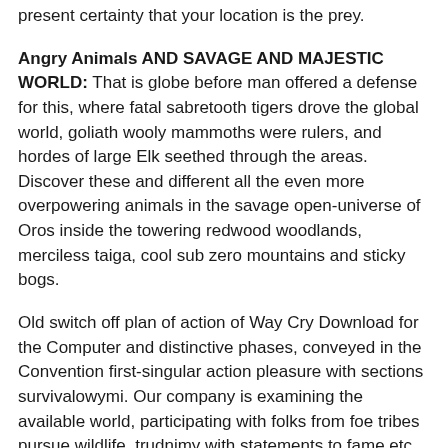present certainty that your location is the prey.
Angry Animals AND SAVAGE AND MAJESTIC WORLD: That is globe before man offered a defense for this, where fatal sabretooth tigers drove the global world, goliath wooly mammoths were rulers, and hordes of large Elk seethed through the areas. Discover these and different all the even more overpowering animals in the savage open-universe of Oros inside the towering redwood woodlands, merciless taiga, cool sub zero mountains and sticky bogs.
Old switch off plan of action of Way Cry Download for the Computer and distinctive phases, conveyed in the Convention first-singular action pleasure with sections survivalowymi. Our company is examining the available world, participating with folks from foe tribes pursue wildlife, trudnimy with statements to fame etc.
Long ways Primal Laptop or computer is an initial specific action preoccupation, which really is a full-length switch